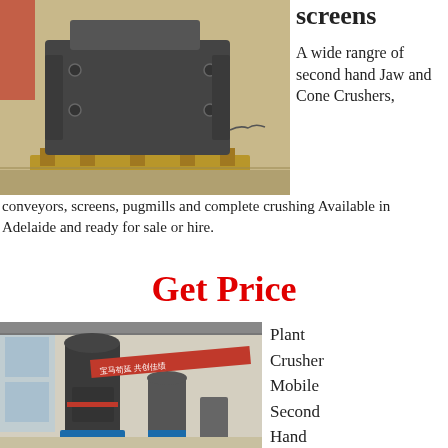[Figure (photo): Industrial jaw crusher / impact crusher machine on wooden pallets outdoors, dark grey metal, red items in background]
screens
A wide rangre of second hand Jaw and Cone Crushers, conveyors, screens, pugmills and complete crushing Available in Adelaide and ready for sale or hire.
Get Price
[Figure (photo): Industrial vertical mill / grinding plant machines in a large factory hall with Chinese red banner]
Plant Crusher Mobile Second Hand Europa - Bagni la Vela